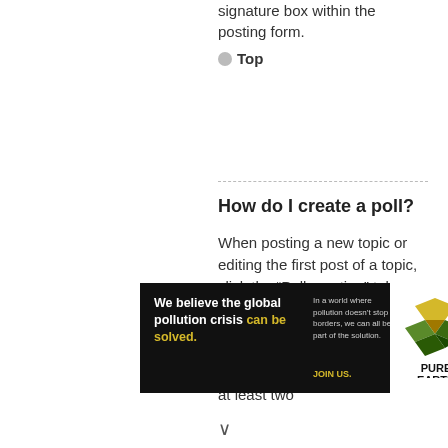signature box within the posting form.
Top
How do I create a poll?
When posting a new topic or editing the first post of a topic, click the “Poll creation” tab below the main posting form; if you cannot see this, you do not have appropriate permissions to create polls. Enter a title and at least two
[Figure (infographic): Pure Earth advertisement banner: black background on left with text 'We believe the global pollution crisis can be solved.' and smaller text 'In a world where pollution doesn’t stop at borders, we can all be part of the solution. JOIN US.' Right side white background with Pure Earth diamond logo and 'PURE EARTH' text.]